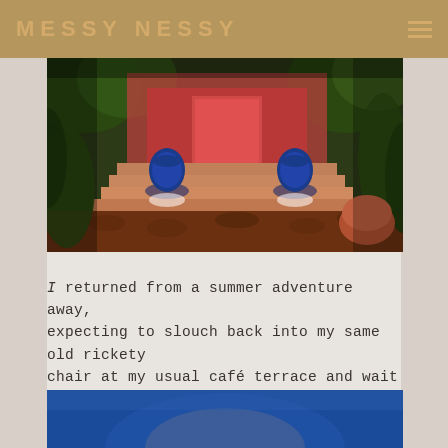MESSY NESSY
[Figure (photo): Night-time courtyard with cobblestone path, terracotta steps flanked by large blue ceramic pots with uplighting, surrounded by lush tropical plants and greenery]
I returned from a summer adventure away, expecting to slouch back into my same old rickety chair at my usual café terrace and wait for winter to find its way back to Paris, always too soon…
[Figure (photo): Bottom portion of image with bright blue hues, partially visible rounded object against blue background (image cropped)]